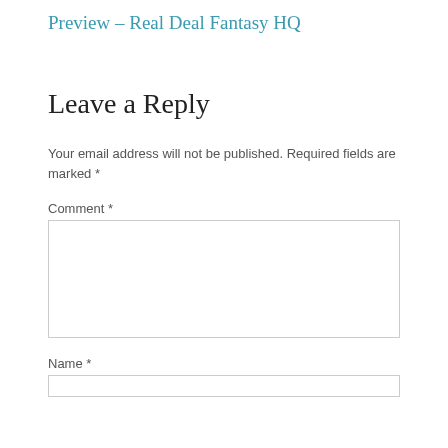Preview – Real Deal Fantasy HQ
Leave a Reply
Your email address will not be published. Required fields are marked *
Comment *
Name *